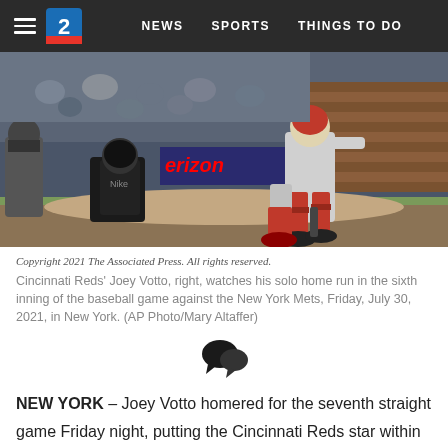NEWS  SPORTS  THINGS TO DO
[Figure (photo): Baseball game action photo showing Cincinnati Reds player Joey Votto running after hitting a home run, with catcher and umpire visible, at night game. Verizon advertising board visible in background.]
Copyright 2021 The Associated Press. All rights reserved.
Cincinnati Reds' Joey Votto, right, watches his solo home run in the sixth inning of the baseball game against the New York Mets, Friday, July 30, 2021, in New York. (AP Photo/Mary Altaffer)
NEW YORK – Joey Votto homered for the seventh straight game Friday night, putting the Cincinnati Reds star within one of the major league record.